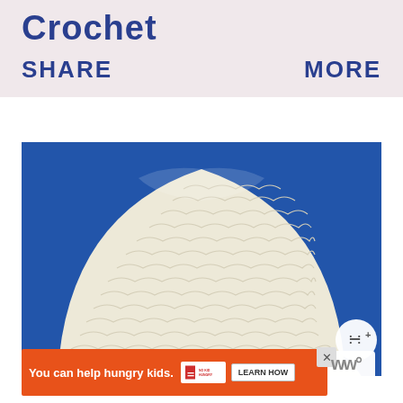Crochet
SHARE
MORE
[Figure (photo): Close-up photo of a cream/ivory crocheted beanie hat against a blue background, with a wooden button visible at the bottom edge. A share button overlay and a 'What's Next' recommendation panel showing a rose image and text 'How to Crochet a 3d...' are visible.]
You can help hungry kids. NO KID HUNGRY LEARN HOW